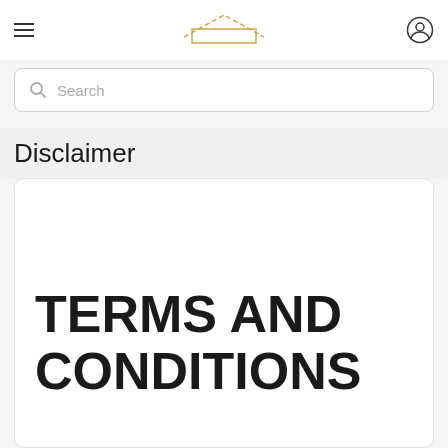Disclaimer — Terms and Conditions page header with logo and navigation
Search
Disclaimer
TERMS AND CONDITIONS